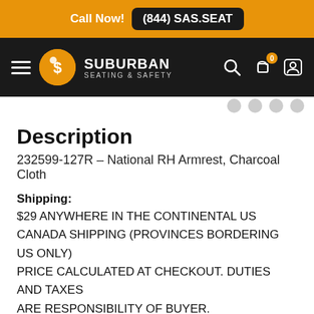Call Now! (844) SAS.SEAT
[Figure (logo): Suburban Seating & Safety logo with navigation bar on dark background]
Description
232599-127R – National RH Armrest, Charcoal Cloth
Shipping: $29 ANYWHERE IN THE CONTINENTAL US CANADA SHIPPING (PROVINCES BORDERING US ONLY) PRICE CALCULATED AT CHECKOUT. DUTIES AND TAXES ARE RESPONSIBILITY OF BUYER.
ALL OTHER CANADIAN PROVINCES AND